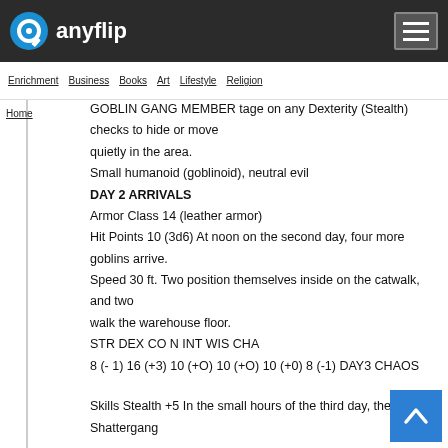anyflip
Enrichment  Business  Books  Art  Lifestyle  Religion
GOBLIN GANG MEMBER tage on any Dexterity (Stealth) checks to hide or move quietly in the area.
Small humanoid (goblinoid), neutral evil
DAY 2 ARRIVALS
Armor Class 14 (leather armor)
Hit Points 10 (3d6) At noon on the second day, four more goblins arrive.
Speed 30 ft. Two position themselves inside on the catwalk, and two walk the warehouse floor.
STR DEX CO N INT WIS CHA
8 (- 1) 16 (+3) 10 (+O) 10 (+O) 10 (+0) 8 (-1) DAY3 CHAOS
Skills Stealth +5 In the small hours of the third day, the Shattergang